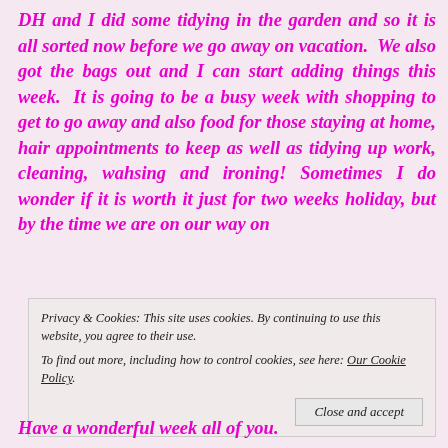DH and I did some tidying in the garden and so it is all sorted now before we go away on vacation.  We also got the bags out and I can start adding things this week.  It is going to be a busy week with shopping to get to go away and also food for those staying at home, hair appointments to keep as well as tidying up work, cleaning, wahsing and ironing!  Sometimes I do wonder if it is worth it just for two weeks holiday, but by the time we are on our way on
Privacy & Cookies: This site uses cookies. By continuing to use this website, you agree to their use.
To find out more, including how to control cookies, see here: Our Cookie Policy
Close and accept
Have a wonderful week all of you.